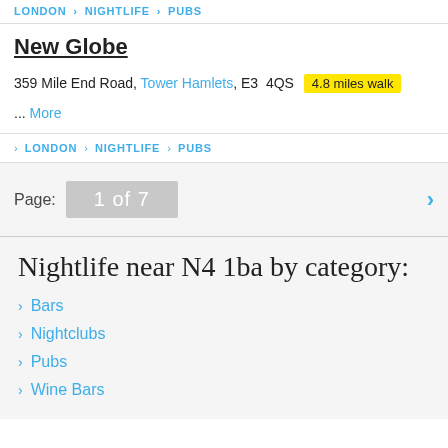LONDON > NIGHTLIFE > PUBS
New Globe
359 Mile End Road, Tower Hamlets, E3 4QS  4.8 miles walk
... More
> LONDON > NIGHTLIFE > PUBS
Page: 1 of 7
Nightlife near N4 1ba by category:
> Bars
> Nightclubs
> Pubs
> Wine Bars